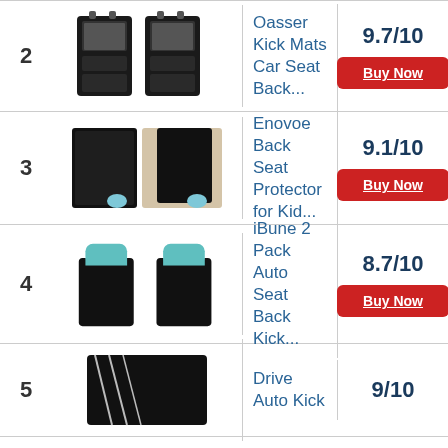| # | Image | Product | Score |
| --- | --- | --- | --- |
| 2 | [image] | Oasser Kick Mats Car Seat Back... | 9.7/10 |
| 3 | [image] | Enovoe Back Seat Protector for Kid... | 9.1/10 |
| 4 | [image] | iBune 2 Pack Auto Seat Back Kick... | 8.7/10 |
| 5 | [image] | Drive Auto Kick | 9/10 |